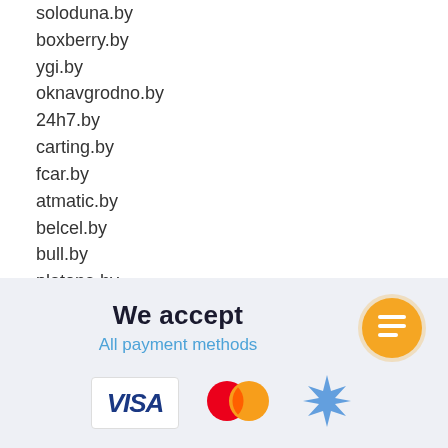soloduna.by
boxberry.by
ygi.by
oknavgrodno.by
24h7.by
carting.by
fcar.by
atmatic.by
belcel.by
bull.by
platone.by
salonokon.by
solemate.by
stena.by
We accept
All payment methods
[Figure (logo): Orange circle icon with white list/document lines symbol]
[Figure (logo): VISA logo in dark blue on white background]
[Figure (logo): Mastercard logo - red and orange overlapping circles]
[Figure (logo): Blue snowflake/star payment logo]